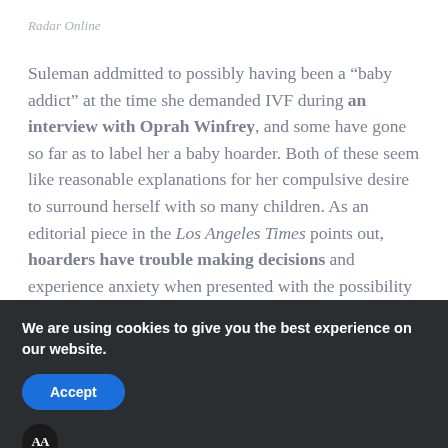Radar Online
Suleman addmitted to possibly having been a “baby addict” at the time she demanded IVF during an interview with Oprah Winfrey, and some have gone so far as to label her a baby hoarder. Both of these seem like reasonable explanations for her compulsive desire to surround herself with so many children. As an editorial piece in the Los Angeles Times points out, hoarders have trouble making decisions and experience anxiety when presented with the possibility of discarding things they perceive as valuable.
We are using cookies to give you the best experience on our website.